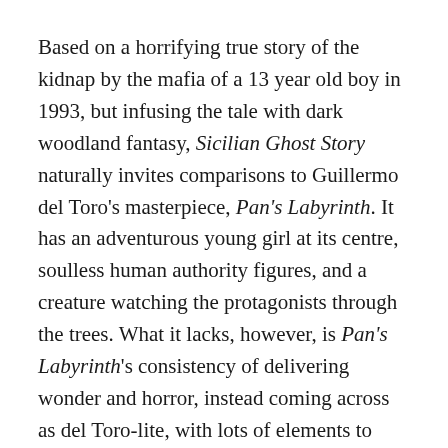Based on a horrifying true story of the kidnap by the mafia of a 13 year old boy in 1993, but infusing the tale with dark woodland fantasy, Sicilian Ghost Story naturally invites comparisons to Guillermo del Toro's masterpiece, Pan's Labyrinth. It has an adventurous young girl at its centre, soulless human authority figures, and a creature watching the protagonists through the trees. What it lacks, however, is Pan's Labyrinth's consistency of delivering wonder and horror, instead coming across as del Toro-lite, with lots of elements to recommend it that only sometimes cohere into a compelling whole.
The victim of the kidnap was an informant's son, Giuseppe di Matteo (Gaetano Fernandez), but Fabio